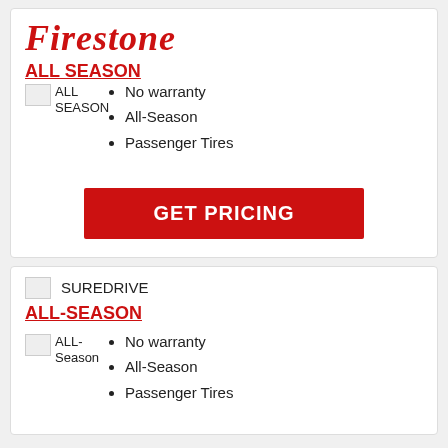[Figure (logo): Firestone brand logo in red italic serif font]
ALL SEASON
[Figure (photo): ALL SEASON tire image (broken/placeholder)]
No warranty
All-Season
Passenger Tires
GET PRICING
[Figure (logo): SUREDRIVE logo image (broken/placeholder)]
ALL-SEASON
[Figure (photo): ALL-Season tire image (broken/placeholder)]
No warranty
All-Season
Passenger Tires